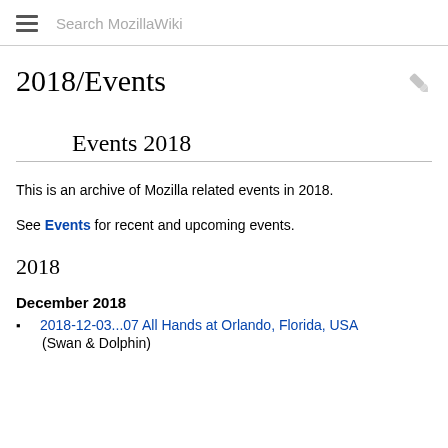Search MozillaWiki
2018/Events
Events 2018
This is an archive of Mozilla related events in 2018.
See Events for recent and upcoming events.
2018
December 2018
2018-12-03...07 All Hands at Orlando, Florida, USA
(Swan & Dolphin)